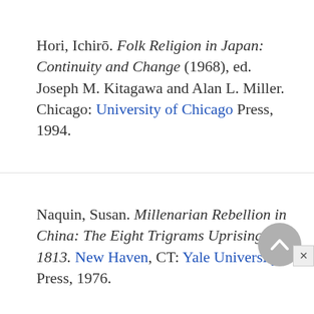Hori, Ichirō. Folk Religion in Japan: Continuity and Change (1968), ed. Joseph M. Kitagawa and Alan L. Miller. Chicago: University of Chicago Press, 1994.
Naquin, Susan. Millenarian Rebellion in China: The Eight Trigrams Uprising of 1813. New Haven, CT: Yale University Press, 1976.
Overmyer, Daniel. Folk Buddhist Religion: Dissenting Sects in Late